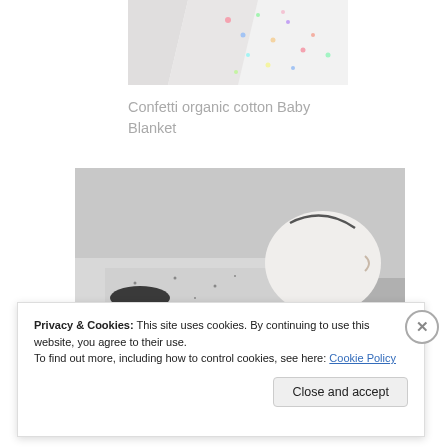[Figure (photo): Partial photo of a confetti patterned organic cotton baby blanket folded/rolled, showing colorful confetti dots pattern on white fabric, on white background.]
Confetti organic cotton Baby Blanket
[Figure (photo): Black and white photo of a sleeping baby, shown from behind/side with baby wearing a patterned onesie, head visible in profile against a light grey background.]
Privacy & Cookies: This site uses cookies. By continuing to use this website, you agree to their use.
To find out more, including how to control cookies, see here: Cookie Policy
Close and accept